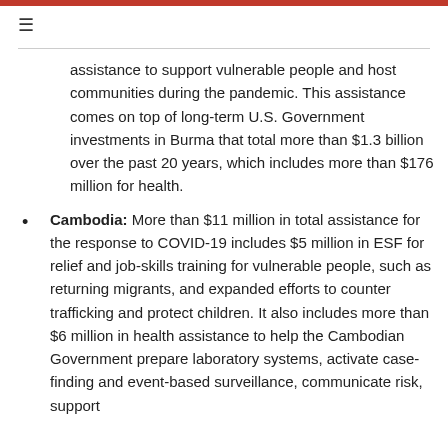assistance to support vulnerable people and host communities during the pandemic. This assistance comes on top of long-term U.S. Government investments in Burma that total more than $1.3 billion over the past 20 years, which includes more than $176 million for health.
Cambodia: More than $11 million in total assistance for the response to COVID-19 includes $5 million in ESF for relief and job-skills training for vulnerable people, such as returning migrants, and expanded efforts to counter trafficking and protect children. It also includes more than $6 million in health assistance to help the Cambodian Government prepare laboratory systems, activate case-finding and event-based surveillance, communicate risk, support